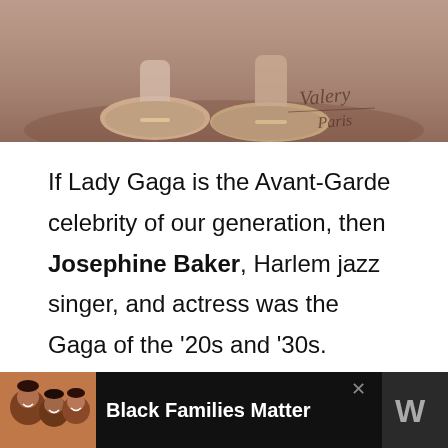[Figure (photo): Sepia-toned photograph showing dancer's feet/shoes with a cursive watermark reading 'Valery Paris']
If Lady Gaga is the Avant-Garde celebrity of our generation, then Josephine Baker, Harlem jazz singer, and actress was the Gaga of the '20s and '30s. Rocking sparkling bikinis, floral embellishments, and mile-long pearl necklaces, Josephine Baker made her presence known — and her audience loved
[Figure (infographic): Advertisement banner: Black background with photo of smiling Black family members and text 'Black Families Matter' with a brand icon (W) on the right side]